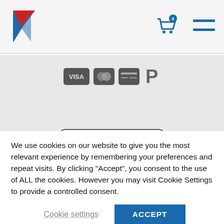[Figure (logo): Airline/brand logo with red and blue chevron/arrow shapes on left side of header]
[Figure (infographic): Shopping cart icon with badge showing 0, and hamburger menu icon on right side of header]
[Figure (infographic): Payment method icons: VISA, Mastercard, generic card, PayPal]
[Figure (infographic): Rating widget: EXCELLENT SERVICE, 5 orange stars, 5.0/5.0 - 12 ratings, Oct. 2019, Verified by LiveChat]
We use cookies on our website to give you the most relevant experience by remembering your preferences and repeat visits. By clicking “Accept”, you consent to the use of ALL the cookies. However you may visit Cookie Settings to provide a controlled consent.
Cookie settings
ACCEPT